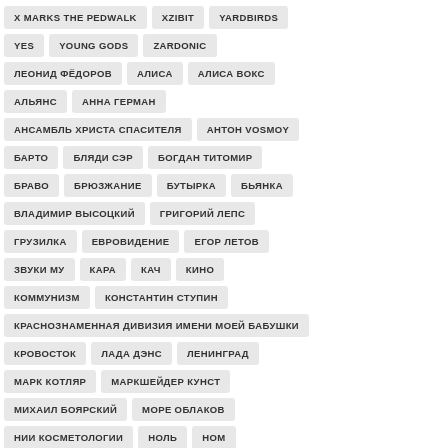X MARKS THE PEDWALK
XZIBIT
YARDBIRDS
YES
YOUNG GODS
ZARDONIC
ЛЕОНИД ФЁДОРОВ
АЛИСА
АЛИСА ВОКС
АЛЬЯНС
АННА ГЕРМАН
АНСАМБЛЬ ХРИСТА СПАСИТЕЛЯ
АНТОН VOSMOY
БАРТО
БЛЯДИ СЭР
БОГДАН ТИТОМИР
БРАВО
БРЮЗЖАНИЕ
БУТЫРКА
БЬЯНКА
ВЛАДИМИР ВЫСОЦКИЙ
ГРИГОРИЙ ЛЕПС
ГРУЗИЛКА
ЕВРОВИДЕНИЕ
ЕГОР ЛЕТОВ
ЗВУКИ МУ
КАРА
КАЧ
КИНО
КОММУНИЗМ
КОНСТАНТИН СТУПИН
КРАСНОЗНАМЕННАЯ ДИВИЗИЯ ИМЕНИ МОЕЙ БАБУШКИ
КРОВОСТОК
ЛАДА ДЭНС
ЛЕНИНГРАД
МАРК КОТЛЯР
МАРКШЕЙДЕР КУНСТ
МИХАИЛ БОЯРСКИЙ
МОРЕ ОБЛАКОВ
НИИ КОСМЕТОЛОГИИ
НОЛЬ
НОМ